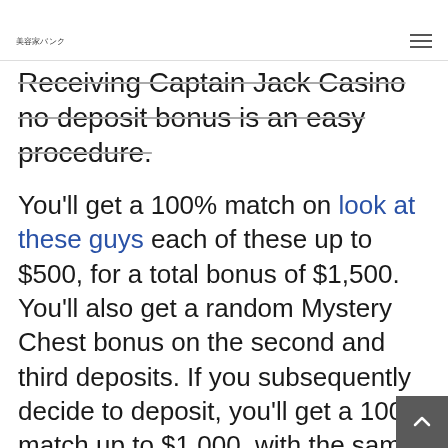美容家バンク
Receiving Captain Jack Casino no deposit bonus is an easy procedure.
You'll get a 100% match on look at these guys each of these up to $500, for a total bonus of $1,500. You'll also get a random Mystery Chest bonus on the second and third deposits. If you subsequently decide to deposit, you'll get a 100% match up to $1,000, with the same terms to clear that money as the no deposit bonus. Virgin has no first deposit bonus, but does off one week of risk free play up to $100